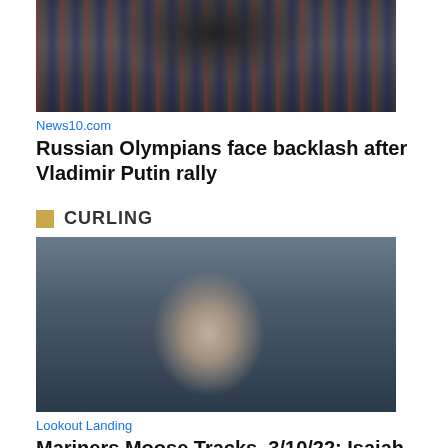[Figure (photo): Crowd scene with flags at a Putin rally, viewed from behind a speaker on stage]
News10.com
Russian Olympians face backlash after Vladimir Putin rally
CURLING
[Figure (photo): Close-up photo of a middle-aged man with grey hair in a suit, speaking or gesturing]
Lookout Landing
Mariners Moose Tracks, 3/10/22: Isaiah Campbell, The International Draft, and Obi-Wan Kenobi